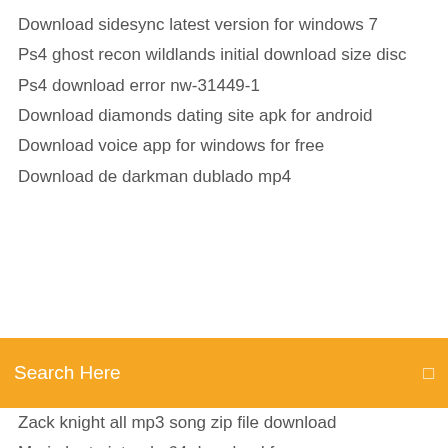Download sidesync latest version for windows 7
Ps4 ghost recon wildlands initial download size disc
Ps4 download error nw-31449-1
Download diamonds dating site apk for android
Download voice app for windows for free
Download de darkman dublado mp4
[Figure (screenshot): Orange search bar with text 'Search Here' and a small icon on the right]
Zack knight all mp3 song zip file download
Mario kart nintendo 64 download for pc
How to download version 2.60 into helix lt
Download driver laptop asus x450ca
Dell latitude e6420 wifi driver win7 64bit download
Kodi apk file download
Plop linux download torrent
Minecraftpocketedition v1.0.9.1 apk download
Darkest dungeon download mods from steam
Automatically remove torrent after finishs downloading